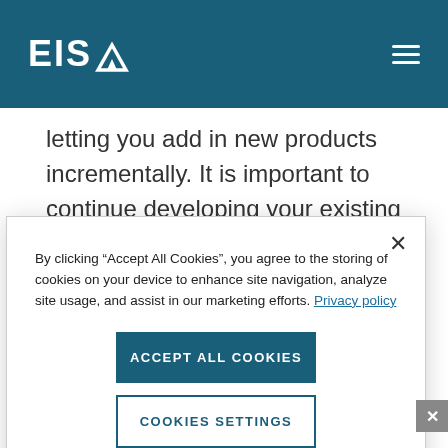EISA
letting you add in new products incrementally. It is important to continue developing your existing book of business without disrupting any of the processes that support your profitability. In time, however, your new
By clicking “Accept All Cookies”, you agree to the storing of cookies on your device to enhance site navigation, analyze site usage, and assist in our marketing efforts. Privacy policy
Accept All Cookies
Cookies Settings